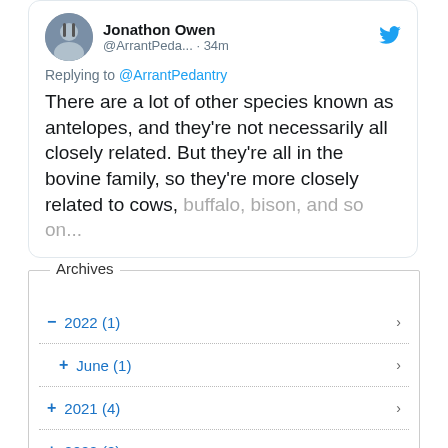[Figure (screenshot): Tweet card from Jonathon Owen (@ArrantPeda...) posted 34 minutes ago, replying to @ArrantPedantry. Tweet text: 'There are a lot of other species known as antelopes, and they're not necessarily all closely related. But they're all in the bovine family, so they're more closely related to cows, buffalo, bison, and so on...' (text cut off)]
Archives
– 2022 (1)
+ June (1)
+ 2021 (4)
+ 2020 (2)